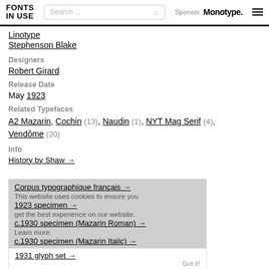FONTS IN USE | Search... | Sponsor Monotype.
Linotype
Stephenson Blake
Designers
Robert Girard
Release Date
May 1923
Related Typefaces
A2 Mazarin, Cochin (13), Naudin (1), NYT Mag Serif (4), Vendôme (20)
Info
History by Shaw →
Corpus typographique français →
1923 specimen →
c.1930 specimen (Mazarin Roman) →
c.1930 specimen (Mazarin Italic) →
1931 glyph set →
c.1950 printer's specimen →
1953 Italic sample →
This website uses cookies to ensure you get the best experience on our website. Learn more. Got it!